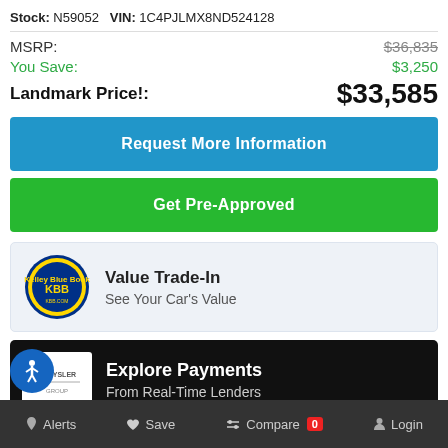Stock: N59052  VIN: 1C4PJLMX8ND524128
MSRP: $36,835
You Save: $3,250
Landmark Price!: $33,585
Request More Information
Get Pre-Approved
Value Trade-In
See Your Car's Value
Explore Payments
From Real-Time Lenders
Landmark Chrysler Dodge Jeep Ram of Morrow
Alerts  Save  Compare 0  Login